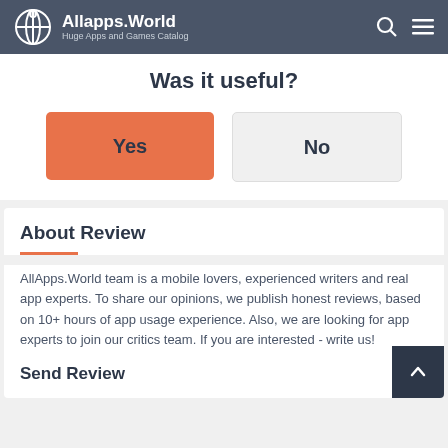Allapps.World — Huge Apps and Games Catalog
Was it useful?
Yes | No
About Review
AllApps.World team is a mobile lovers, experienced writers and real app experts. To share our opinions, we publish honest reviews, based on 10+ hours of app usage experience. Also, we are looking for app experts to join our critics team. If you are interested - write us!
Send Review